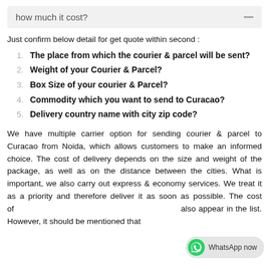how much it cost?
Just confirm below detail for get quote within second :
The place from which the courier & parcel will be sent?
Weight of your Courier & Parcel?
Box Size of your courier & Parcel?
Commodity which you want to send to Curacao?
Delivery country name with city zip code?
We have multiple carrier option for sending courier & parcel to Curacao from Noida, which allows customers to make an informed choice. The cost of delivery depends on the size and weight of the package, as well as on the distance between the cities. What is important, we also carry out express & economy services. We treat it as a priority and therefore deliver it as soon as possible. The cost of also appear in the list. However, it should be mentioned that